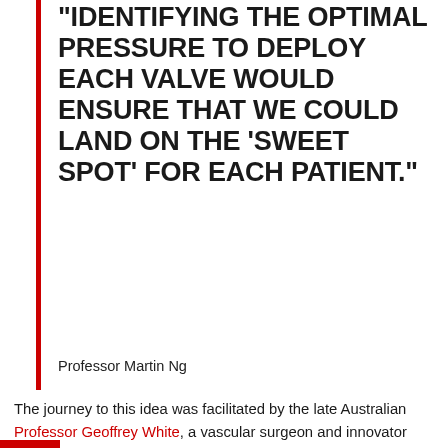“IDENTIFYING THE OPTIMAL PRESSURE TO DEPLOY EACH VALVE WOULD ENSURE THAT WE COULD LAND ON THE ‘SWEET SPOT’ FOR EACH PATIENT.”
Professor Martin Ng
The journey to this idea was facilitated by the late Australian Professor Geoffrey White, a vascular surgeon and innovator who developed a balloon-expandable stent-graft for treatment of abdominal aortic aneurysms.
“In experiments in animals and cadavers, he showed that the interaction between the prosthesis and the